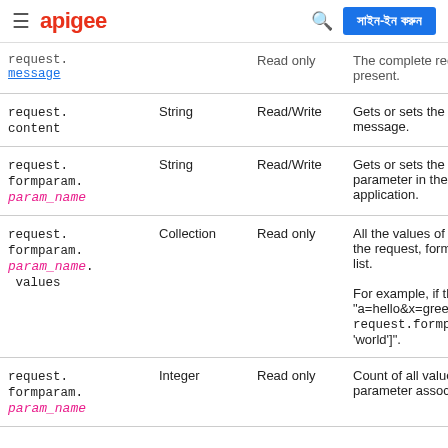apigee — সাইন-ইন করুন
| Variable | Type | Access | Description |
| --- | --- | --- | --- |
| request. message | Read only |  | The complete requ... present. |
| request.content | String | Read/Write | Gets or sets the pa... message. |
| request.formparam.param_name | String | Read/Write | Gets or sets the val... parameter in the re... application. |
| request.formparam.param_name.values | Collection | Read only | All the values of a p... the request, format... list. For example, if the ... "a=hello&x=greetin... request.formparm... 'world'". |
| request.formparam.param_name | Integer | Read only | Count of all values ... parameter associat... |